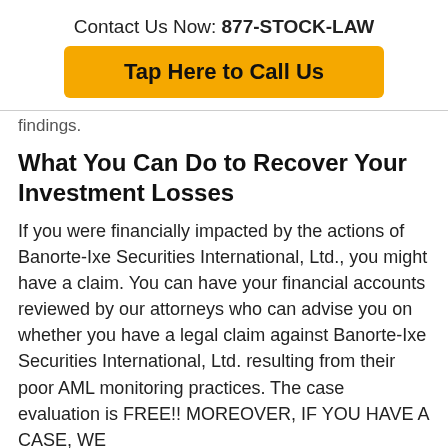Contact Us Now: 877-STOCK-LAW
Tap Here to Call Us
findings.
What You Can Do to Recover Your Investment Losses
If you were financially impacted by the actions of Banorte-Ixe Securities International, Ltd., you might have a claim. You can have your financial accounts reviewed by our attorneys who can advise you on whether you have a legal claim against Banorte-Ixe Securities International, Ltd. resulting from their poor AML monitoring practices. The case evaluation is FREE!! MOREOVER, IF YOU HAVE A CASE, WE